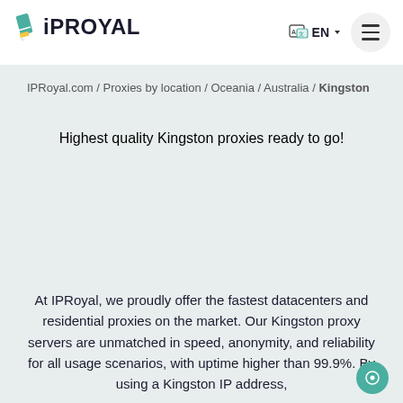IPRoyal EN
IPRoyal.com / Proxies by location / Oceania / Australia / Kingston
Highest quality Kingston proxies ready to go!
At IPRoyal, we proudly offer the fastest datacenters and residential proxies on the market. Our Kingston proxy servers are unmatched in speed, anonymity, and reliability for all usage scenarios, with uptime higher than 99.9%. By using a Kingston IP address,